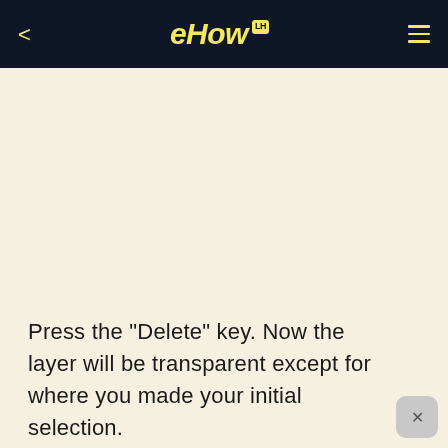eHow
[Figure (screenshot): Large empty cream/off-white content area, likely a placeholder for a video or image]
Press the "Delete" key. Now the layer will be transparent except for where you made your initial selection.